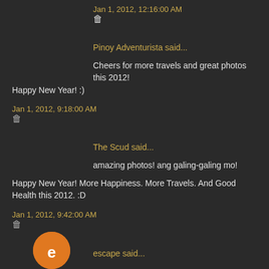Jan 1, 2012, 12:16:00 AM
🗑
Pinoy Adventurista said...
Cheers for more travels and great photos this 2012! Happy New Year! :)
Jan 1, 2012, 9:18:00 AM
🗑
The Scud said...
amazing photos! ang galing-galing mo!
Happy New Year! More Happiness. More Travels. And Good Health this 2012. :D
Jan 1, 2012, 9:42:00 AM
🗑
escape said...